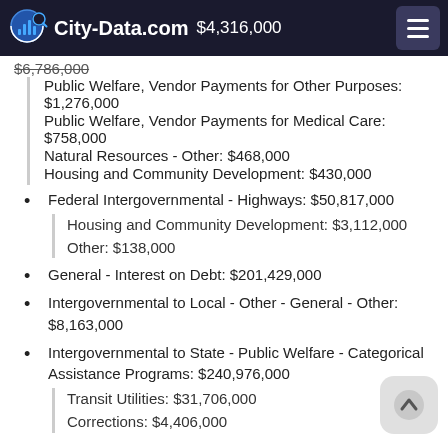City-Data.com $4,316,000
Public Welfare, Vendor Payments for Other Purposes: $1,276,000
Public Welfare, Vendor Payments for Medical Care: $758,000
Natural Resources - Other: $468,000
Housing and Community Development: $430,000
Federal Intergovernmental - Highways: $50,817,000
Housing and Community Development: $3,112,000
Other: $138,000
General - Interest on Debt: $201,429,000
Intergovernmental to Local - Other - General - Other: $8,163,000
Intergovernmental to State - Public Welfare - Categorical Assistance Programs: $240,976,000
Transit Utilities: $31,706,000
Corrections: $4,406,000